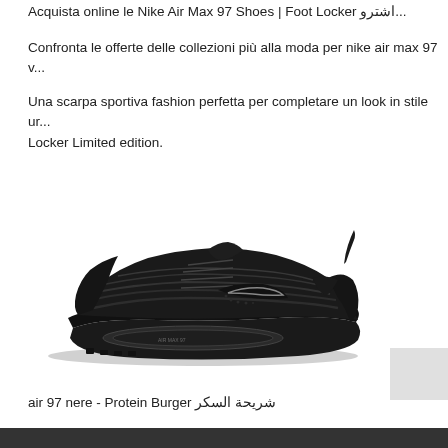Acquista online le Nike Air Max 97 Shoes | Foot Locker اشترو...
Confronta le offerte delle collezioni più alla moda per nike air max 97 v...
Una scarpa sportiva fashion perfetta per completare un look in stile ur... Locker Limited edition.
[Figure (photo): Black Nike Air Max 97 sneaker photographed from the side on a white background]
[Figure (photo): Small thumbnail image, light grey placeholder]
air 97 nere - Protein Burger شريحة السكر